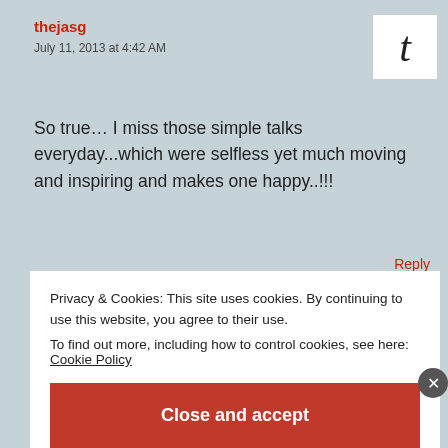thejasg
July 11, 2013 at 4:42 AM
So true… I miss those simple talks everyday...which were selfless yet much moving and inspiring and makes one happy..!!!
Reply
thejasg
Privacy & Cookies: This site uses cookies. By continuing to use this website, you agree to their use.
To find out more, including how to control cookies, see here: Cookie Policy
Close and accept